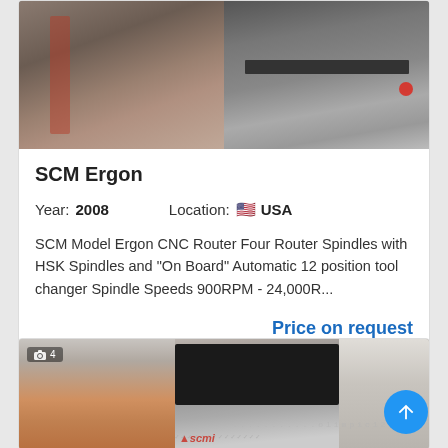[Figure (photo): SCM Ergon CNC Router machine photographs showing front panel with controls and red button]
SCM Ergon
Year: 2008    Location: USA
SCM Model Ergon CNC Router Four Router Spindles with HSK Spindles and "On Board" Automatic 12 position tool changer Spindle Speeds 900RPM - 24,000R...
Price on request
[Figure (photo): Second machine listing showing SCMi olimpic woodworking machine, partial view with photo counter showing 4 images]